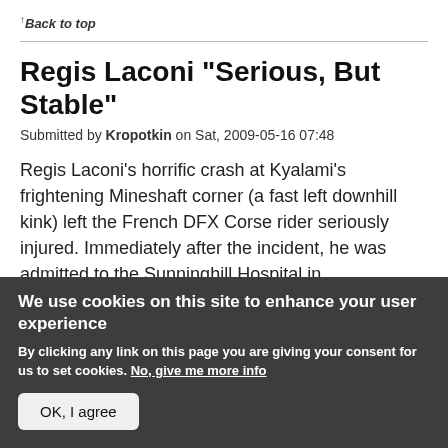↑Back to top
Regis Laconi "Serious, But Stable"
Submitted by Kropotkin on Sat, 2009-05-16 07:48
Regis Laconi's horrific crash at Kyalami's frightening Mineshaft corner (a fast left downhill kink) left the French DFX Corse rider seriously injured. Immediately after the incident, he was admitted to the Sunninghill Hospital in Johannesburg, where he was diagnosed with fractured vertebrae and cranial trauma.
We use cookies on this site to enhance your user experience
By clicking any link on this page you are giving your consent for us to set cookies. No, give me more info
OK, I agree